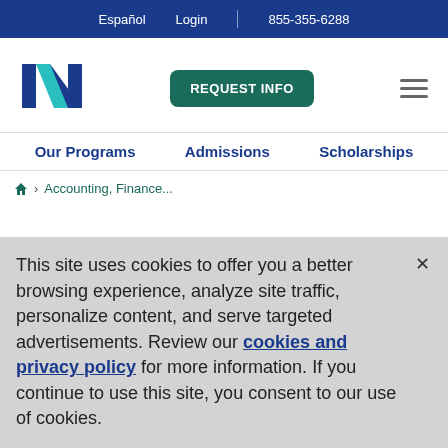Español   Login   855-355-6288
[Figure (logo): National University logo — stylized letter N with teal accent]
REQUEST INFO
Our Programs   Admissions   Scholarships
🏠 > Accounting, Finance...
This site uses cookies to offer you a better browsing experience, analyze site traffic, personalize content, and serve targeted advertisements. Review our cookies and privacy policy for more information. If you continue to use this site, you consent to our use of cookies.